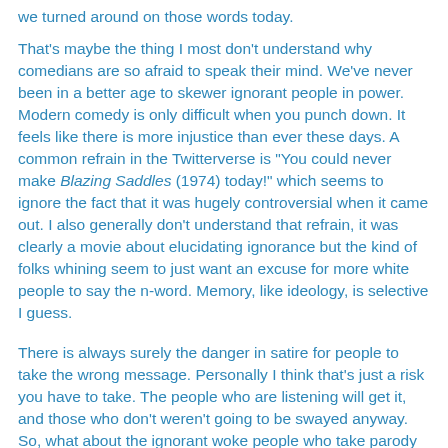we turned around on those words today.
That's maybe the thing I most don't understand why comedians are so afraid to speak their mind. We've never been in a better age to skewer ignorant people in power. Modern comedy is only difficult when you punch down. It feels like there is more injustice than ever these days. A common refrain in the Twitterverse is "You could never make Blazing Saddles (1974) today!" which seems to ignore the fact that it was hugely controversial when it came out. I also generally don't understand that refrain, it was clearly a movie about elucidating ignorance but the kind of folks whining seem to just want an excuse for more white people to say the n-word. Memory, like ideology, is selective I guess.
There is always surely the danger in satire for people to take the wrong message. Personally I think that's just a risk you have to take. The people who are listening will get it, and those who don't weren't going to be swayed anyway. So, what about the ignorant woke people who take parody and satire at face value but are in actuality on the side of the comedian fighting for justice? I don't know, maybe you just need to be really in on the joke, like Borat. Subsequent...